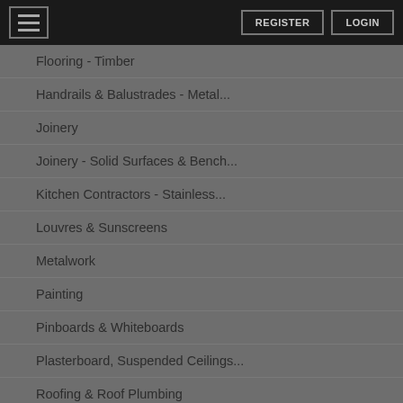REGISTER  LOGIN
Flooring - Timber
Handrails & Balustrades - Metal...
Joinery
Joinery - Solid Surfaces & Bench...
Kitchen Contractors - Stainless...
Louvres & Sunscreens
Metalwork
Painting
Pinboards & Whiteboards
Plasterboard, Suspended Ceilings...
Roofing & Roof Plumbing
Signage
Stainless Steel
Tiling
Waterproofing & Tanking
Windows - Blinds & Curtains